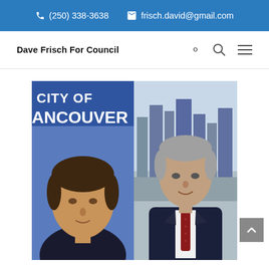(250) 338-3638   frisch.david@gmail.com
Dave Frisch For Council
[Figure (photo): Two side-by-side photos: left photo shows a man in front of a City of Vancouver banner; right photo shows a man in a suit and red tie with a city skyline in the background.]